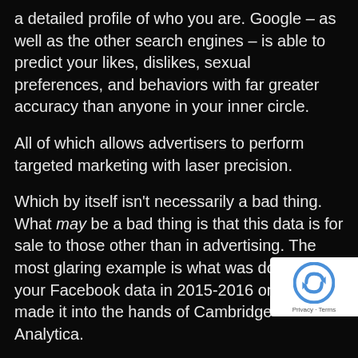a detailed profile of who you are. Google – as well as the other search engines – is able to predict your likes, dislikes, sexual preferences, and behaviors with far greater accuracy than anyone in your inner circle.
All of which allows advertisers to perform targeted marketing with laser precision.
Which by itself isn't necessarily a bad thing. What may be a bad thing is that this data is for sale to those other than in advertising. The most glaring example is what was done with your Facebook data in 2015-2016 once it made it into the hands of Cambridge Analytica.
If you aren't already thinking What can I do about it?, may I recommend skipping the rest of